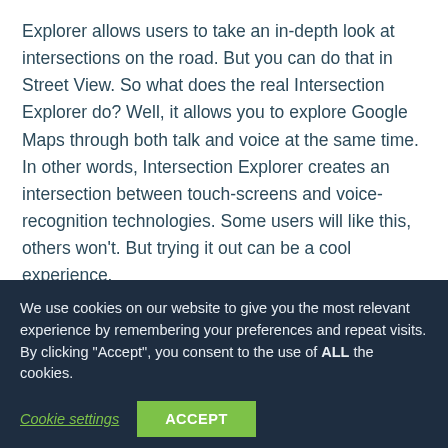Explorer allows users to take an in-depth look at intersections on the road. But you can do that in Street View. So what does the real Intersection Explorer do? Well, it allows you to explore Google Maps through both talk and voice at the same time. In other words, Intersection Explorer creates an intersection between touch-screens and voice-recognition technologies. Some users will like this, others won't. But trying it out can be a cool experience.
We use cookies on our website to give you the most relevant experience by remembering your preferences and repeat visits. By clicking "Accept", you consent to the use of ALL the cookies.